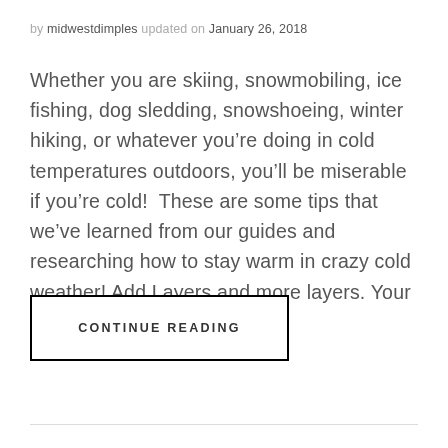by midwestdimples updated on January 26, 2018
Whether you are skiing, snowmobiling, ice fishing, dog sledding, snowshoeing, winter hiking, or whatever you’re doing in cold temperatures outdoors, you’ll be miserable if you’re cold!  These are some tips that we’ve learned from our guides and researching how to stay warm in crazy cold weather! Add Layers and more layers. Your base and mid …
CONTINUE READING